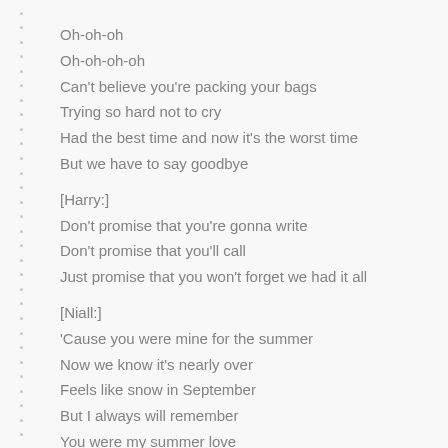Oh-oh-oh
Oh-oh-oh-oh
Can't believe you're packing your bags
Trying so hard not to cry
Had the best time and now it's the worst time
But we have to say goodbye
[Harry:]
Don't promise that you're gonna write
Don't promise that you'll call
Just promise that you won't forget we had it all
[Niall:]
'Cause you were mine for the summer
Now we know it's nearly over
Feels like snow in September
But I always will remember
You were my summer love
You always will be my summer love